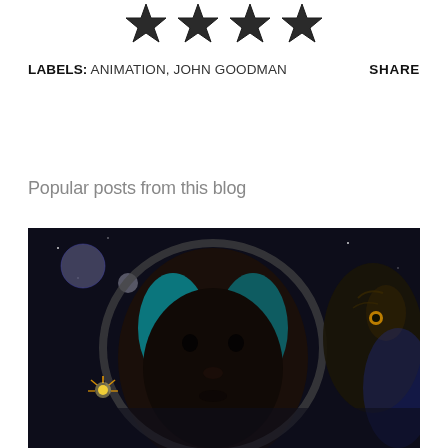[Figure (illustration): Four black star rating icons at the top of the page]
LABELS: ANIMATION, JOHN GOODMAN    SHARE
Popular posts from this blog
[Figure (photo): Movie poster or promotional image showing a dark-skinned person wearing a space helmet with glowing blue visor elements, set against a space background with planets and an alien creature visible on the right side]